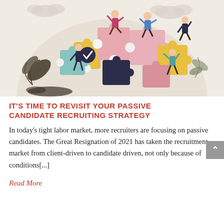[Figure (illustration): Colorful flat illustration of multiple people assembling large puzzle pieces together against a beige background with decorative foliage and clouds. Characters in various poses climbing, pushing, and connecting pastel-colored puzzle pieces in pink, yellow, teal, and dark navy.]
IT'S TIME TO REVISIT YOUR PASSIVE CANDIDATE RECRUITING STRATEGY
In today's tight labor market, more recruiters are focusing on passive candidates. The Great Resignation of 2021 has taken the recruitment market from client-driven to candidate driven, not only because of conditions[...]
Read More